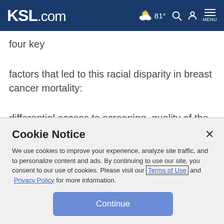KSL.com | 81° weather, search, account, menu
four key
factors that led to this racial disparity in breast cancer mortality:
differential access to screening, quality of the screening process,
Cookie Notice
We use cookies to improve your experience, analyze site traffic, and to personalize content and ads. By continuing to use our site, you consent to our use of cookies. Please visit our Terms of Use and Privacy Policy for more information.
Continue